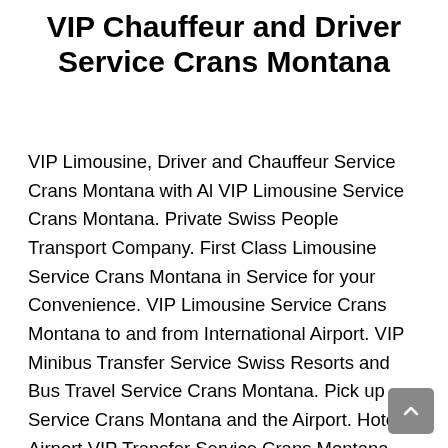VIP Chauffeur and Driver Service Crans Montana
VIP Limousine, Driver and Chauffeur Service Crans Montana with Al VIP Limousine Service Crans Montana. Private Swiss People Transport Company. First Class Limousine Service Crans Montana in Service for your Convenience. VIP Limousine Service Crans Montana to and from International Airport. VIP Minibus Transfer Service Swiss Resorts and Bus Travel Service Crans Montana. Pick up Service Crans Montana and the Airport. Hotel Airport VIP Transfer Service Crans Montana. Business Limousine Service Crans Montana. Business trip in Crans Montana with Al Limousine Service Crans Montana. Airport Car Rental with Driver Service Crans Montana. Luxury Chauffeur Service Crans Montana. VIP Driver Service Crans Montana with deluxe Car. VIP Airport Chauffeur and Limousine Transport for; Business, Congress, Seminar, Conference, Forum,